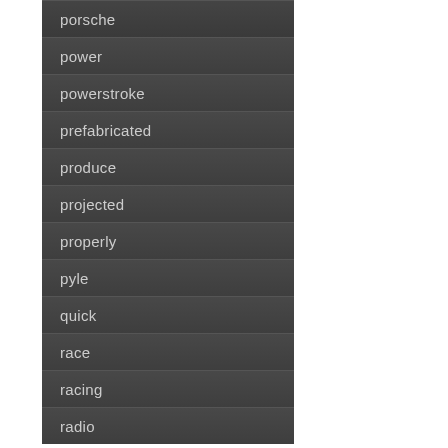porsche
power
powerstroke
prefabricated
produce
projected
properly
pyle
quick
race
racing
radio